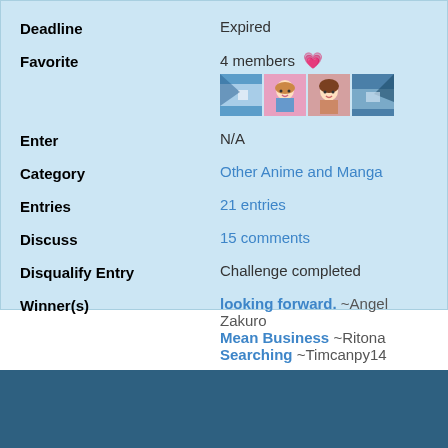| Deadline | Expired |
| Favorite | 4 members [heart icon] [avatars] |
| Enter | N/A |
| Category | Other Anime and Manga |
| Entries | 21 entries |
| Discuss | 15 comments |
| Disqualify Entry | Challenge completed |
| Winner(s) | looking forward. ~Angel Zakuro
Mean Business ~Ritona
Searching ~Timcanpy14 |